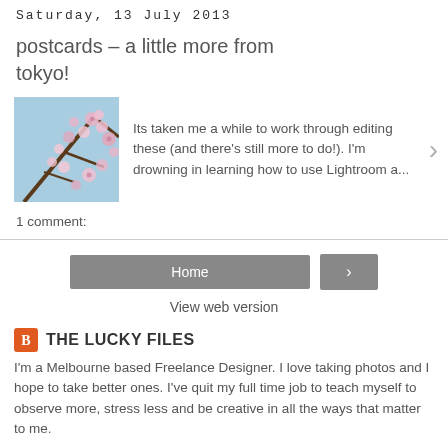Saturday, 13 July 2013
postcards – a little more from tokyo!
[Figure (photo): Cherry blossom photo thumbnail — pink blossoms against a blue sky]
Its taken me a while to work through editing these (and there's still more to do!). I'm drowning in learning how to use Lightroom a...
1 comment:
Home
View web version
THE LUCKY FILES
I'm a Melbourne based Freelance Designer. I love taking photos and I hope to take better ones. I've quit my full time job to teach myself to observe more, stress less and be creative in all the ways that matter to me.
View my complete profile